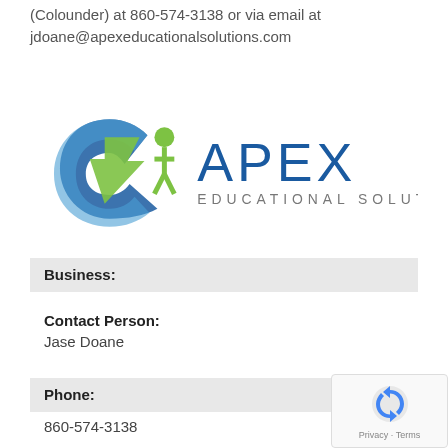(Colounder) at 860-574-3138 or via email at jdoane@apexeducationalsolutions.com
[Figure (logo): Apex Educational Solutions logo with stylized figure and arrow icon in blue and green, and APEX EDUCATIONAL SOLUTIONS text in blue]
Business:
Contact Person:
Jase Doane
Phone:
860-574-3138